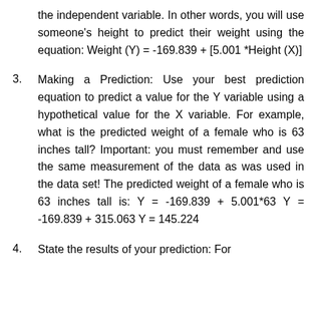the independent variable. In other words, you will use someone's height to predict their weight using the equation: Weight (Y) = -169.839 + [5.001 *Height (X)]
3. Making a Prediction: Use your best prediction equation to predict a value for the Y variable using a hypothetical value for the X variable. For example, what is the predicted weight of a female who is 63 inches tall? Important: you must remember and use the same measurement of the data as was used in the data set! The predicted weight of a female who is 63 inches tall is: Y = -169.839 + 5.001*63 Y = -169.839 + 315.063 Y = 145.224
4. State the results of your prediction: For